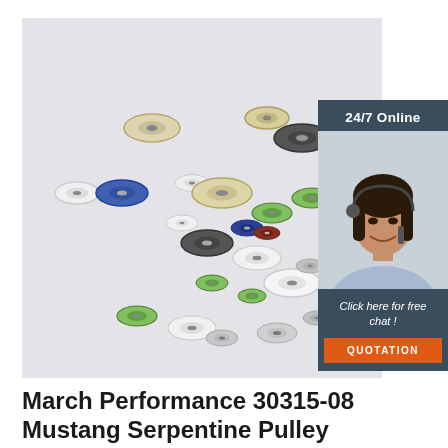[Figure (photo): Product photo showing many serpentine pulleys of various colors (white, cream, blue, green, black, gray) scattered on a light gray background.]
[Figure (photo): Chat widget showing a smiling woman with headset, labeled '24/7 Online', with 'Click here for free chat!' text and an orange QUOTATION button.]
March Performance 30315-08 Mustang Serpentine Pulley